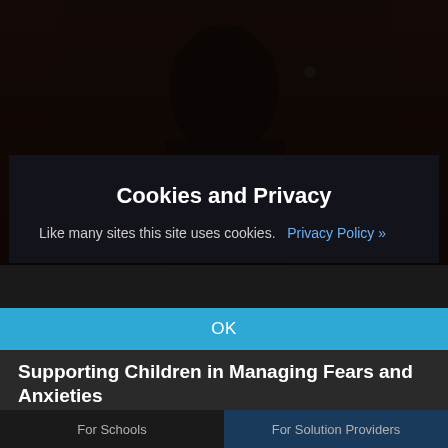[Figure (photo): Dark background photo of a child's face, dimly lit, occupying the top portion of the page behind a cookie consent overlay]
Cookies and Privacy
Like many sites this site uses cookies.  Privacy Policy »
OK
Supporting Children in Managing Fears and Anxieties
Laura from Role Models shares why children may experience fear and anxiety and how we can help them manage their feelings.
by Laura Kay
For Schools    For Solution Providers